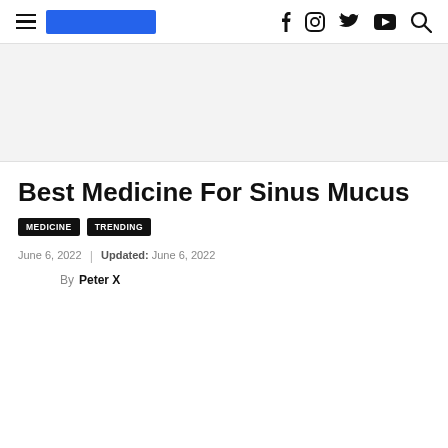Best Medicine For Sinus Mucus — website navigation bar with hamburger menu, logo, and social icons (f, Instagram, Twitter, YouTube, search)
[Figure (other): Gray advertisement banner placeholder area]
Best Medicine For Sinus Mucus
MEDICINE
TRENDING
June 6, 2022 | Updated: June 6, 2022
By Peter X